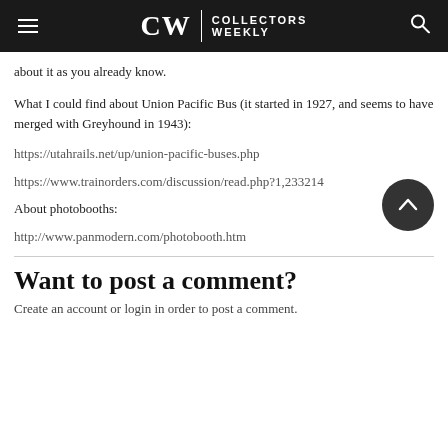CW | COLLECTORS WEEKLY
about it as you already know.
What I could find about Union Pacific Bus (it started in 1927, and seems to have merged with Greyhound in 1943):
https://utahrails.net/up/union-pacific-buses.php
https://www.trainorders.com/discussion/read.php?1,233214
About photoboths:
http://www.panmodern.com/photobooth.htm
Want to post a comment?
Create an account or login in order to post a comment.